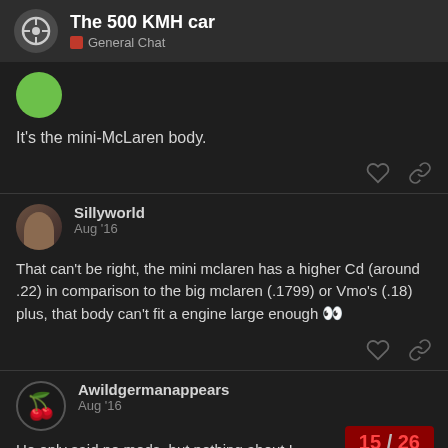The 500 KMH car — General Chat
It's the mini-McLaren body.
Sillyworld — Aug '16
That can't be right, the mini mclaren has a higher Cd (around .22) in comparison to the big mclaren (.1799) or Vmo's (.18) plus, that body can't fit a engine large enough 👀
Awildgermanappears — Aug '16
He only said no mods, but nothing about L
15 / 26